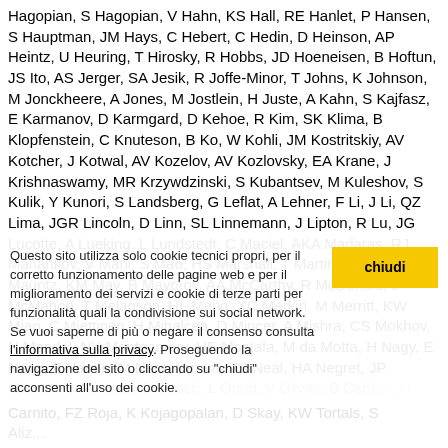Hagopian, S Hagopian, V Hahn, KS Hall, RE Hanlet, P Hansen, S Hauptman, JM Hays, C Hebert, C Hedin, D Heinson, AP Heintz, U Heuring, T Hirosky, R Hobbs, JD Hoeneisen, B Hoftun, JS Ito, AS Jerger, SA Jesik, R Joffe-Minor, T Johns, K Johnson, M Jonckheere, A Jones, M Jostlein, H Juste, A Kahn, S Kajfasz, E Karmanov, D Karmgard, D Kehoe, R Kim, SK Klima, B Klopfenstein, C Knuteson, B Ko, W Kohli, JM Kostritskiy, AV Kotcher, J Kotwal, AV Kozelov, AV Kozlovsky, EA Krane, J Krishnaswamy, MR Krzywdzinski, S Kubantsev, M Kuleshov, S Kulik, Y Kunori, S Landsberg, G Leflat, A Lehner, F Li, J Li, QZ Lima, JGR Lincoln, D Linn, SL Linnemann, J Lipton, R Lu, JG Lucotte, A Lueking, L Lundstedt, C Maciel, AKA Madaras, RJ Manankov, V Mani, S Mao, HS Marshall, T Martin, MI Martin, RD Mauritz, KM May, B Mayorov, AA McCarthy, R McDonald, J McMahon, T Melanson, HL Meng, XC Merkin, M Merritt, KW Miao, C Miettinen, H Mihalcea, D Mincer, A Mishra, CS Mokhov, N Mondal, NK Montgomery, HE Mostafa, M da Motta, H Nagy, E Nang, F Narain, M Narasimham, VS Neal, HA Negret, JP
Nooron, S Norman, D Oesch, L Onori, V Olivier, B Oshima, N...
Cookie notice: Questo sito utilizza solo cookie tecnici propri, per il corretto funzionamento delle pagine web e per il miglioramento dei servizi e cookie di terze parti per funzionalità quali la condivisione sui social network. Se vuoi saperne di più o negare il consenso consulta l'informativa sulla privacy. Proseguendo la navigazione del sito o cliccando su "chiudi" acconsenti all'uso dei cookie.
...Carnito, FZ Roja, K Kojagopalan, DSky, KW Tortals, S...